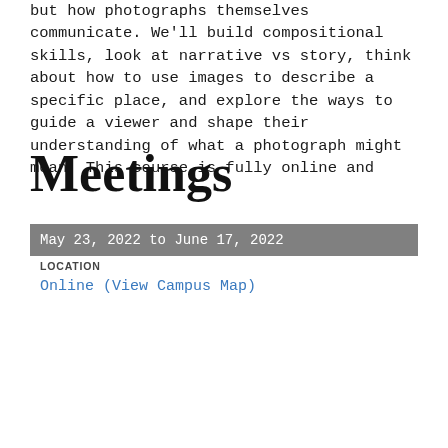but how photographs themselves communicate. We'll build compositional skills, look at narrative vs story, think about how to use images to describe a specific place, and explore the ways to guide a viewer and shape their understanding of what a photograph might mean. This course is fully online and
Meetings
May 23, 2022 to June 17, 2022
LOCATION
Online (View Campus Map)